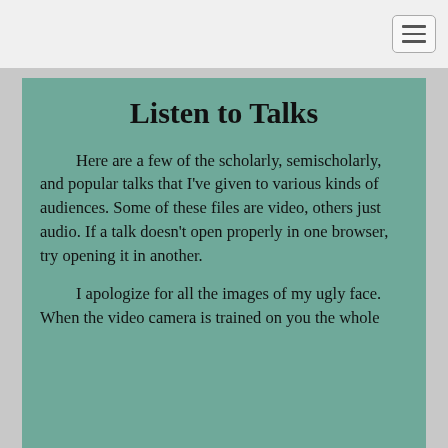Listen to Talks
Here are a few of the scholarly, semischolarly, and popular talks that I've given to various kinds of audiences. Some of these files are video, others just audio. If a talk doesn't open properly in one browser, try opening it in another.
I apologize for all the images of my ugly face.  When the video camera is trained on you the whole